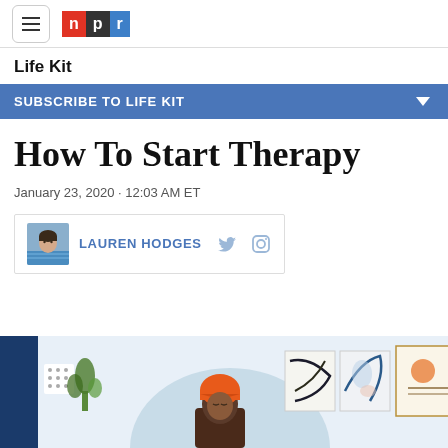NPR Life Kit
Life Kit
SUBSCRIBE TO LIFE KIT
How To Start Therapy
January 23, 2020 · 12:03 AM ET
LAUREN HODGES
[Figure (illustration): Illustrated hero image showing a woman with an orange head wrap sitting in a therapy room, with abstract artwork on the walls behind her]